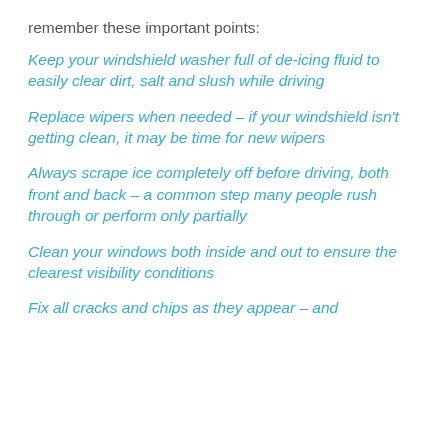remember these important points:
Keep your windshield washer full of de-icing fluid to easily clear dirt, salt and slush while driving
Replace wipers when needed – if your windshield isn't getting clean, it may be time for new wipers
Always scrape ice completely off before driving, both front and back – a common step many people rush through or perform only partially
Clean your windows both inside and out to ensure the clearest visibility conditions
Fix all cracks and chips as they appear – and